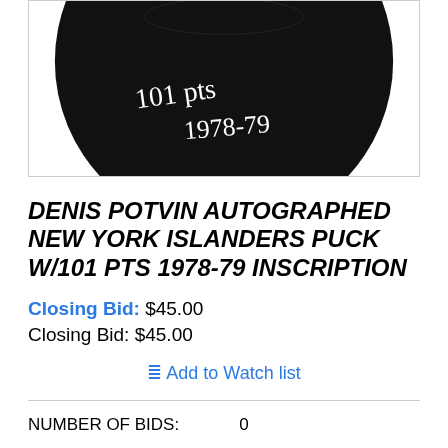[Figure (photo): Close-up of a black hockey puck with white handwritten inscription reading '101 PTS 1978-79']
DENIS POTVIN AUTOGRAPHED NEW YORK ISLANDERS PUCK W/101 PTS 1978-79 INSCRIPTION
Closing Bid: $45.00
Closing Bid: $45.00
Add to Watch list
NUMBER OF BIDS:	0